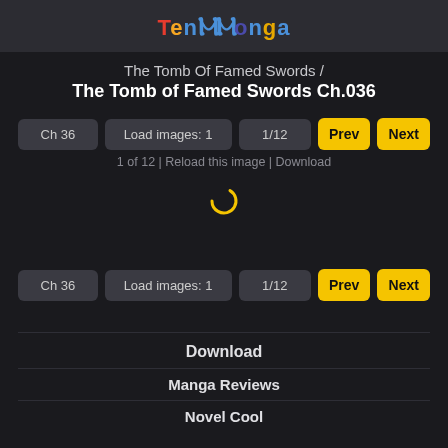TenMonga
The Tomb Of Famed Swords / The Tomb of Famed Swords Ch.036
Ch 36 | Load images: 1 | 1/12 | Prev | Next
1 of 12 | Reload this image | Download
[Figure (other): Loading spinner icon]
Ch 36 | Load images: 1 | 1/12 | Prev | Next
Download
Manga Reviews
Novel Cool